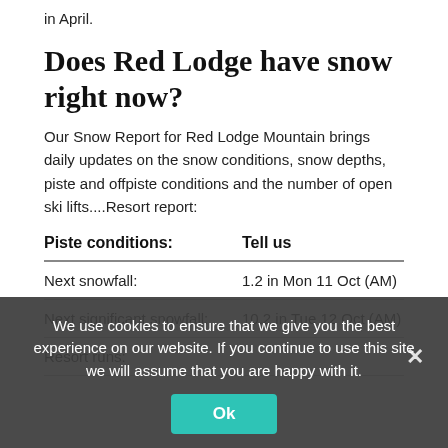in April.
Does Red Lodge have snow right now?
Our Snow Report for Red Lodge Mountain brings daily updates on the snow conditions, snow depths, piste and offpiste conditions and the number of open ski lifts....Resort report:
| Piste conditions: | Tell us |
| --- | --- |
| Next snowfall: | 1.2 in Mon 11 Oct (AM) |
| Next significant snowfall: | 10.2 in Tue 12 Oct (AM) |
| Resort runs: |  |
We use cookies to ensure that we give you the best experience on our website. If you continue to use this site we will assume that you are happy with it.